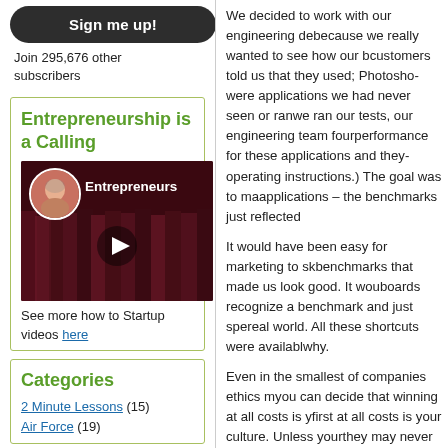[Figure (other): Sign me up button]
Join 295,676 other subscribers
Entrepreneurship is a Calling
[Figure (screenshot): Video thumbnail showing a speaker labeled 'Entrepreneurs' with a play button]
See more how to Startup videos here
Categories
2 Minute Lessons (15)
Air Force (19)
We decided to work with our engineering de... because we really wanted to see how our b... customers told us that they used; Photosho... were applications we had never seen or ran... we ran our tests, our engineering team four... performance for these applications and they... operating instructions.) The goal was to ma... applications – the benchmarks just reflected...
It would have been easy for marketing to sk... benchmarks that made us look good. It wou... boards recognize a benchmark and just spe... real world. All these shortcuts were availabl... why.
Even in the smallest of companies ethics m... you can decide that winning at all costs is y... first at all costs is your culture. Unless your... they may never know that's what you're doi...
Don't confuse or rationalize "relentless and...
Shortcuts are easy. But besides being mora... you big time. (Think about the baseball Ste... housing bubble, etc.) When your employees... you'll find unethical behavior occurring that... of it is illegal and can have enormous conc...